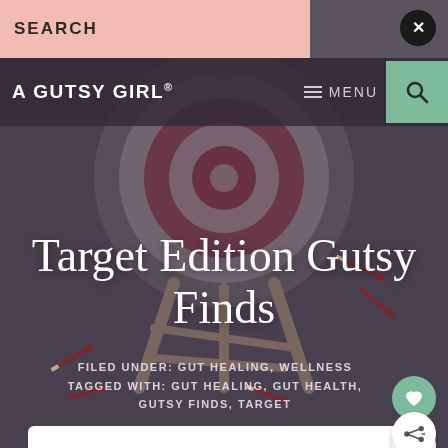SEARCH
[Figure (screenshot): Website navigation bar with 'A GUTSY GIRL®' logo, hamburger MENU icon, and green search icon box]
[Figure (photo): Background photo of archery target with arrows, dark overlay, archery stand visible]
Target Edition Gutsy Finds
FILED UNDER: GUT HEALING, WELLNESS
TAGGED WITH: GUT HEALING, GUT HEALTH, GUTSY FINDS, TARGET